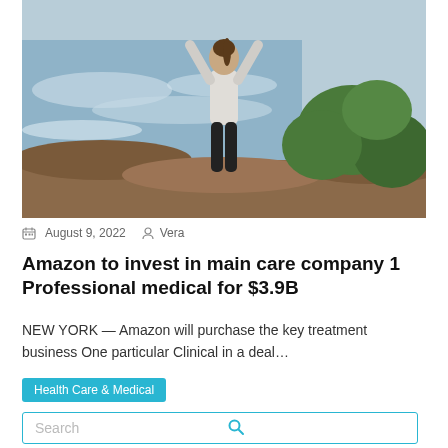[Figure (photo): Woman standing on rocky cliff with arms raised above head in victory pose, facing ocean with waves and green bushes in background, wearing white tank top and black leggings.]
August 9, 2022  Vera
Amazon to invest in main care company 1 Professional medical for $3.9B
NEW YORK — Amazon will purchase the key treatment business One particular Clinical in a deal…
Health Care & Medical
Search